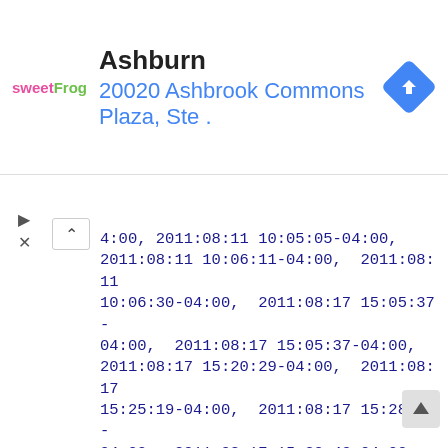[Figure (logo): sweetFrog frozen yogurt logo with pink 'sweet' and green 'Frog' text]
Ashburn
20020 Ashbrook Commons Plaza, Ste .
[Figure (other): Blue diamond navigation/directions icon with white right-turn arrow]
4:00, 2011:08:11 10:05:05-04:00, 2011:08:11 10:06:11-04:00, 2011:08:11 10:06:30-04:00, 2011:08:17 15:05:37-04:00, 2011:08:17 15:05:37-04:00, 2011:08:17 15:20:29-04:00, 2011:08:17 15:25:19-04:00, 2011:08:17 15:28:21-04:00, 2011:08:17 15:32:43-04:00, 2011:08:25 17:04:55-04:00, 2011:08:25 17:04:55-04:00, 2011:08:25 17:05:47-04:00, 2011:08:25 17:06:07-04:00, 2011:08:25 17:06:29-04:00, 2011:08:25 17:12:51-04:00, 2011:08:25 17:24:02-04:00, 2011:08:25 17:24:31-04:00, 2011:08:25 17:25:05-04:00, 2011:08:25 17:27:55-04:00, 2011:08:25 17:33:10-04:00, 2011:08:29 08:47:18-04:00, 2011:08:29 08:50:42-04:00, 2011:08:29 08:57:10-04:00, 2011:08:29 08:58:17